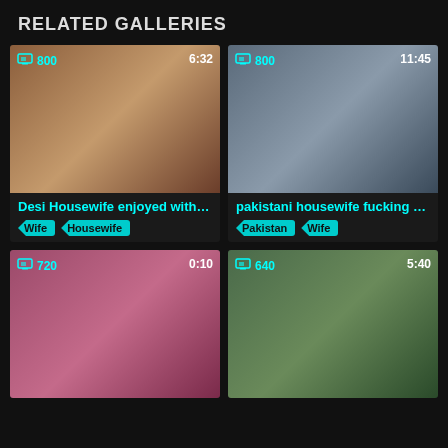RELATED GALLERIES
[Figure (photo): Video thumbnail - Desi Housewife enjoyed with Bf, badge 800, duration 6:32]
Desi Housewife enjoyed with Bf
[Figure (photo): Video thumbnail - pakistani housewife fucking w..., badge 800, duration 11:45]
pakistani housewife fucking w...
[Figure (photo): Video thumbnail - 720, duration 0:10]
[Figure (photo): Video thumbnail - 640, duration 5:40]